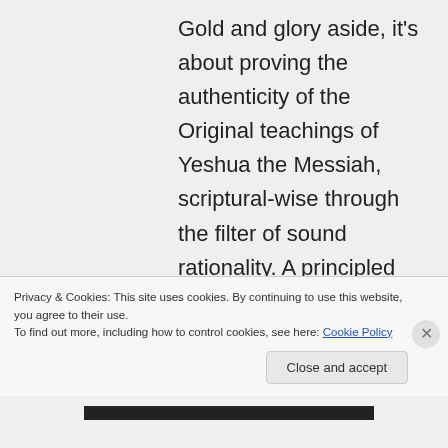Gold and glory aside, it's about proving the authenticity of the Original teachings of Yeshua the Messiah, scriptural-wise through the filter of sound rationality. A principled discourse yes, but tit-for-tat quarrels no.
Privacy & Cookies: This site uses cookies. By continuing to use this website, you agree to their use.
To find out more, including how to control cookies, see here: Cookie Policy